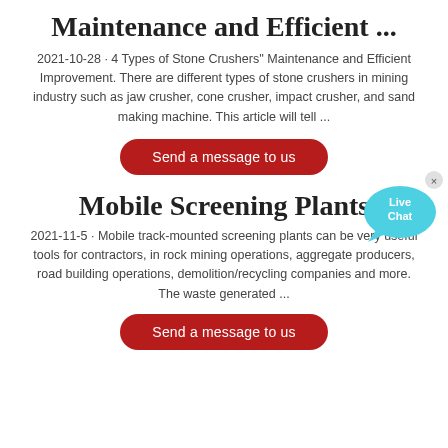Maintenance and Efficient ...
2021-10-28 · 4 Types of Stone Crushers'' Maintenance and Efficient Improvement. There are different types of stone crushers in mining industry such as jaw crusher, cone crusher, impact crusher, and sand making machine. This article will tell ...
[Figure (other): Red rounded button labeled 'Send a message to us']
[Figure (other): Blue live chat bubble widget with 'Live Chat' text and close X button]
Mobile Screening Plants
2021-11-5 · Mobile track-mounted screening plants can be very useful tools for contractors, in rock mining operations, aggregate producers, road building operations, demolition/recycling companies and more. The waste generated ...
[Figure (other): Red rounded button labeled 'Send a message to us']